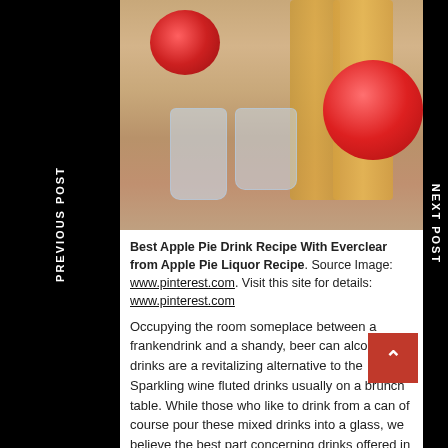[Figure (photo): Photo of mason jars, apples, and bottles of apple cider/juice on a burlap background]
Best Apple Pie Drink Recipe With Everclear from Apple Pie Liquor Recipe. Source Image: www.pinterest.com. Visit this site for details: www.pinterest.com
Occupying the room someplace between a frankendrink and a shandy, beer can alcoholic drinks are a revitalizing alternative to the Sparkling wine fluted drinks usually on a brunch table. While those who like to drink from a can of course pour these mixed drinks into a glass, we believe the best part concerning drinks offered in a can is that they're almost begging to be sipped outside– ideal for
PREVIOUS POST
NEXT POST